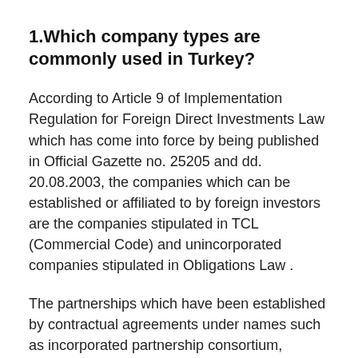1.Which company types are commonly used in Turkey?
According to Article 9 of Implementation Regulation for Foreign Direct Investments Law which has come into force by being published in Official Gazette no. 25205 and dd. 20.08.2003, the companies which can be established or affiliated to by foreign investors are the companies stipulated in TCL (Commercial Code) and unincorporated companies stipulated in Obligations Law .
The partnerships which have been established by contractual agreements under names such as incorporated partnership consortium, business